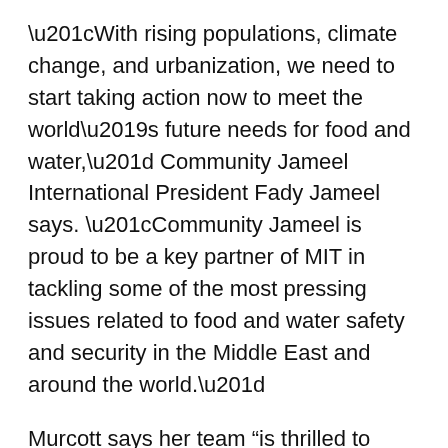“With rising populations, climate change, and urbanization, we need to start taking action now to meet the world’s future needs for food and water,” Community Jameel International President Fady Jameel says. “Community Jameel is proud to be a key partner of MIT in tackling some of the most pressing issues related to food and water safety and security in the Middle East and around the world.”
Murcott says her team “is thrilled to have J-WAFS support for manufacturing and marketing the E.coli test kit.”
“Early stage ideas can more readily get funding, whereas support for commercialization is harder to come by,” she says. “This is doubly the case when one considers commercialization of a product like